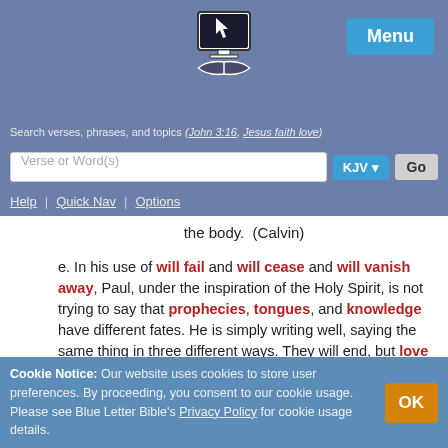[Figure (logo): Blue Letter Bible logo with monitor and open book icon]
Menu
Search verses, phrases, and topics (e.g. John 3:16, Jesus faith love)
Verse or Word(s) [search input] KJV Go
Help | Quick Nav | Options
the body.  (Calvin)
e. In his use of will fail and will cease and will vanish away, Paul, under the inspiration of the Holy Spirit, is not trying to say that prophecies, tongues, and knowledge have different fates. He is simply writing well, saying the same thing in three different ways. They will end, but love never fails.
Cookie Notice: Our website uses cookies to store user preferences. By proceeding, you consent to our cookie usage. Please see Blue Letter Bible's Privacy Policy for cookie usage details.